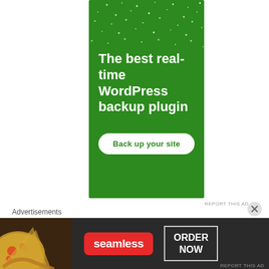[Figure (illustration): Green advertisement banner for a WordPress backup plugin. Dark green background with white dot pattern at top. Large white bold text reads 'The best real-time WordPress backup plugin'. White rounded rectangle button with green text 'Back up your site'.]
REPORT THIS AD
In a nutshell:
Advertisements
[Figure (illustration): Seamless food delivery advertisement. Dark background with pizza slices on left. Red Seamless logo badge in center. 'ORDER NOW' text in white box on right.]